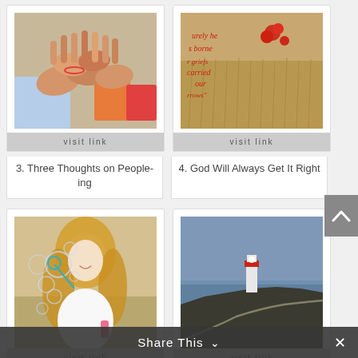[Figure (photo): Children's hands stacked together with colorful toys in background]
visit link
3. Three Thoughts on People-ing
[Figure (photo): Field of dry grass with red flowers and a scripture quote overlay in red text]
visit link
4. God Will Always Get It Right
[Figure (photo): Young girl in white dress blowing bubbles in a field]
visit link
5. 7 Ways To Embrace Loving Yourself With...
[Figure (photo): Lighthouse on a rocky cliff by the sea at dusk]
visit link
6. Light for the Shadows
Share This ∨
✕